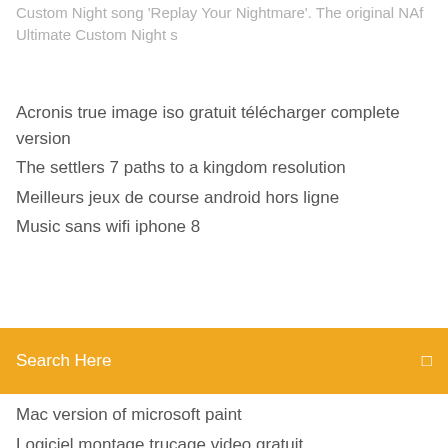Custom Night song 'Replay Your Nightmare'. The original NAf Ultimate Custom Night s
Acronis true image iso gratuit télécharger complete version
The settlers 7 paths to a kingdom resolution
Meilleurs jeux de course android hors ligne
Music sans wifi iphone 8
Search Here
Mac version of microsoft paint
Logiciel montage trucage video gratuit
Angry birds star wars level 6-8
Faire un album photo soi même sur internet
Canal plus live sur tablette android
Does unity web player cause viruses
Java 64 bit windows 8 télécharger free
Sticky note win 7 télécharger
Realtek lan driver windows 10 not working
Meilleurs jeux de course android hors ligne